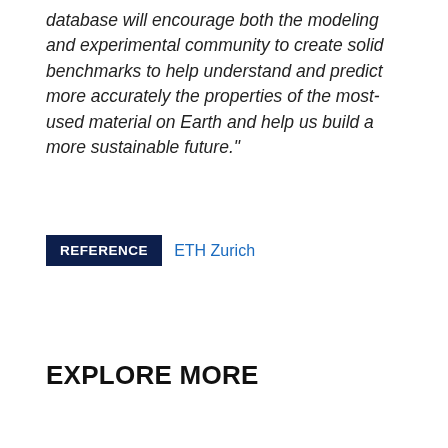database will encourage both the modeling and experimental community to create solid benchmarks to help understand and predict more accurately the properties of the most-used material on Earth and help us build a more sustainable future."
REFERENCE   ETH Zurich
EXPLORE MORE